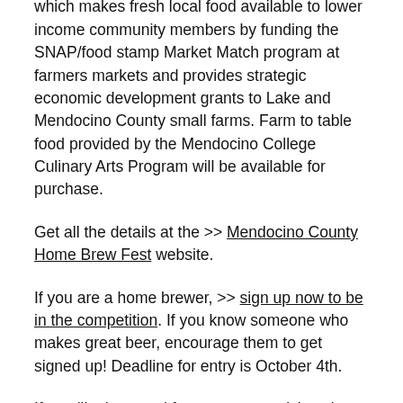All proceeds go to support Good Farm Fund, which makes fresh local food available to lower income community members by funding the SNAP/food stamp Market Match program at farmers markets and provides strategic economic development grants to Lake and Mendocino County small farms. Farm to table food provided by the Mendocino College Culinary Arts Program will be available for purchase.
Get all the details at the >> Mendocino County Home Brew Fest website.
If you are a home brewer, >> sign up now to be in the competition. If you know someone who makes great beer, encourage them to get signed up! Deadline for entry is October 4th.
If you like beer and fun >> get your tickets here.